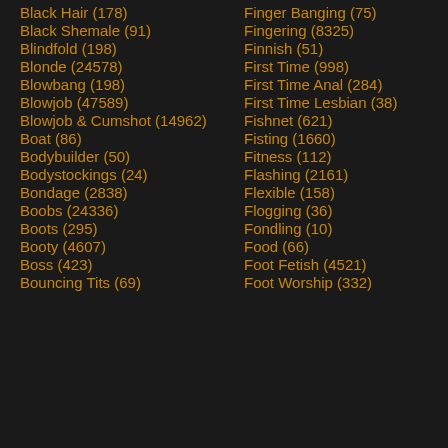Black Hair (178)
Finger Banging (75)
Black Shemale (91)
Fingering (8325)
Blindfold (198)
Finnish (51)
Blonde (24578)
First Time (998)
Blowbang (198)
First Time Anal (284)
Blowjob (47589)
First Time Lesbian (38)
Blowjob & Cumshot (14962)
Fishnet (621)
Boat (86)
Fisting (1660)
Bodybuilder (50)
Fitness (112)
Bodystockings (24)
Flashing (2161)
Bondage (2838)
Flexible (158)
Boobs (24336)
Flogging (36)
Boots (295)
Fondling (10)
Booty (4607)
Food (66)
Boss (423)
Foot Fetish (4521)
Bouncing Tits (69)
Foot Worship (332)